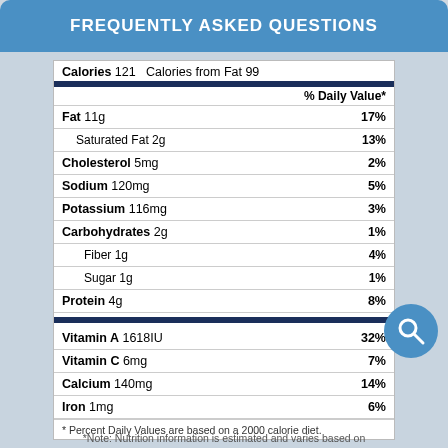FREQUENTLY ASKED QUESTIONS
| Nutrient | Amount | % Daily Value |
| --- | --- | --- |
| Calories | 121 | Calories from Fat 99 |
| Fat | 11g | 17% |
| Saturated Fat | 2g | 13% |
| Cholesterol | 5mg | 2% |
| Sodium | 120mg | 5% |
| Potassium | 116mg | 3% |
| Carbohydrates | 2g | 1% |
| Fiber | 1g | 4% |
| Sugar | 1g | 1% |
| Protein | 4g | 8% |
| Vitamin A | 1618IU | 32% |
| Vitamin C | 6mg | 7% |
| Calcium | 140mg | 14% |
| Iron | 1mg | 6% |
* Percent Daily Values are based on a 2000 calorie diet.
*Note: Nutrition information is estimated and varies based on